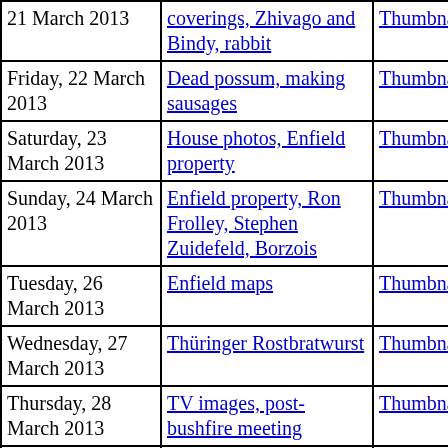| Date | Title | Thumbnails | Small photos | diary |
| --- | --- | --- | --- | --- |
| 21 March 2013 | coverings, Zhivago and Bindy, rabbit | Thumbnails | Small photos | diary |
| Friday, 22 March 2013 | Dead possum, making sausages | Thumbnails | Small photos | diary |
| Saturday, 23 March 2013 | House photos, Enfield property | Thumbnails | Small photos | diary |
| Sunday, 24 March 2013 | Enfield property, Ron Frolley, Stephen Zuidefeld, Borzois | Thumbnails | Small photos | diary |
| Tuesday, 26 March 2013 | Enfield maps | Thumbnails | Small photos | diary |
| Wednesday, 27 March 2013 | Thüringer Rostbratwurst | Thumbnails | Small photos | diary |
| Thursday, 28 March 2013 | TV images, post-bushfire meeting | Thumbnails | Small photos | diary |
| Friday, 29 March 2013 | Remains of Dilley's house | Thumbnails | Small photos | diary |
| Saturday, 30 March 2013 | House photos | Thumbnails | Small photos | diary |